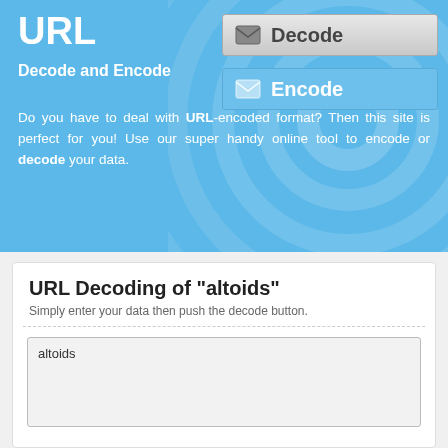URL
Decode and Encode
[Figure (other): Decode button with envelope icon]
[Figure (other): Encode button with envelope icon]
Do you have to deal with URL-encoded format? Then this site is perfect for you! Use our super handy online tool to encode or decode your data.
URL Decoding of "altoids"
Simply enter your data then push the decode button.
altoids